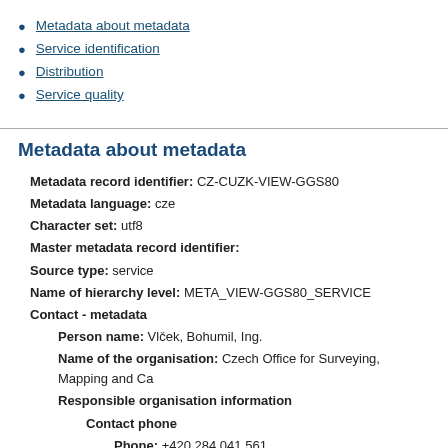Metadata about metadata
Service identification
Distribution
Service quality
Metadata about metadata
Metadata record identifier: CZ-CUZK-VIEW-GGS80
Metadata language: cze
Character set: utf8
Master metadata record identifier:
Source type: service
Name of hierarchy level: META_VIEW-GGS80_SERVICE
Contact - metadata
Person name: Vlček, Bohumil, Ing.
Name of the organisation: Czech Office for Surveying, Mapping and Ca
Responsible organisation information
Contact phone
Phone: +420 284 041 561
Fax: +420 284 041 416
Address
Delivery place: Pod sidlištěm 1800/9
City: Praha 8